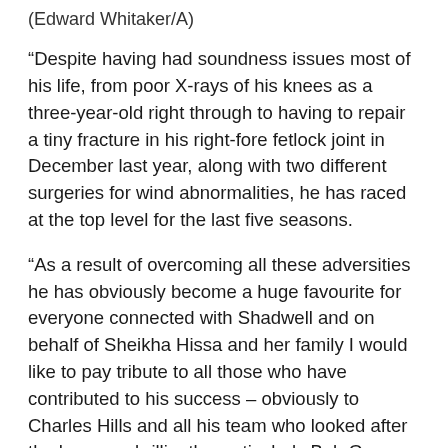(Edward Whitaker/A)
“Despite having had soundness issues most of his life, from poor X-rays of his knees as a three-year-old right through to having to repair a tiny fracture in his right-fore fetlock joint in December last year, along with two different surgeries for wind abnormalities, he has raced at the top level for the last five seasons.
“As a result of overcoming all these adversities he has obviously become a huge favourite for everyone connected with Shadwell and on behalf of Sheikha Hissa and her family I would like to pay tribute to all those who have contributed to his success – obviously to Charles Hills and all his team who looked after the horse so brilliantly, particularly Bob Grace and Bluey Cannon who took over the mantle of looking after the horse this year when Bob retired.
“To all those who rode the horse over the years, and in particular Dane O’Neill who has ridden him in so much of his work for the last three or four years. To all